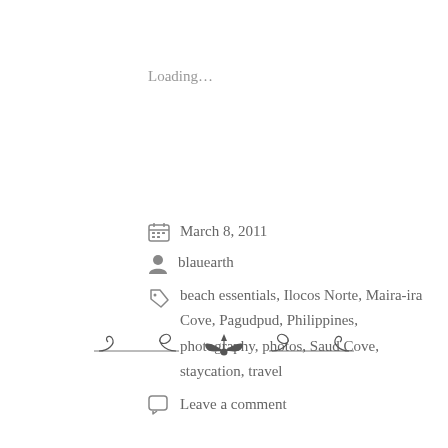Loading...
March 8, 2011
blauearth
beach essentials, Ilocos Norte, Maira-ira Cove, Pagudpud, Philippines, photography, photos, Saud Cove, staycation, travel
Leave a comment
[Figure (illustration): Decorative ornamental divider with scrollwork and bow design]